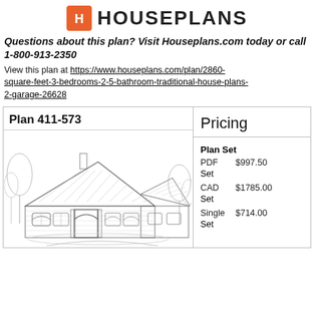[Figure (logo): Houseplans logo with orange house icon and bold sans-serif HOUSEPLANS text]
Questions about this plan? Visit Houseplans.com today or call 1-800-913-2350
View this plan at https://www.houseplans.com/plan/2860-square-feet-3-bedrooms-2-5-bathroom-traditional-house-plans-2-garage-26628
Plan 411-573
Pricing
[Figure (illustration): Architectural sketch illustration of a traditional house with brick exterior, arched entry, columns, and landscaping]
Plan Set
PDF Set  $997.50
CAD Set  $1785.00
Single Set  $714.00